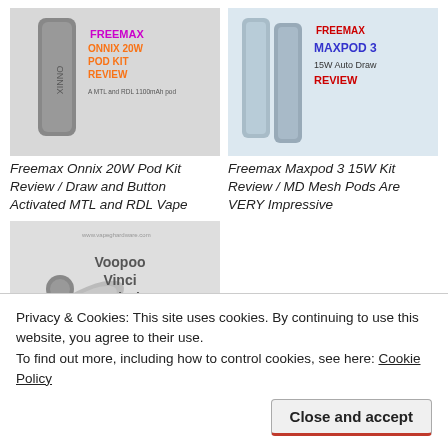[Figure (photo): Freemax Onnix 20W Pod Kit product image with review title overlay]
Freemax Onnix 20W Pod Kit Review / Draw and Button Activated MTL and RDL Vape
[Figure (photo): Freemax Maxpod 3 15W Auto Draw product image with review title overlay]
Freemax Maxpod 3 15W Kit Review / MD Mesh Pods Are VERY Impressive
[Figure (photo): Voopoo Vinci Pod Kit product image with review title overlay]
Voopoo Vinci Pod Kit Review / A Cool 15W 800mAh Draw
Privacy & Cookies: This site uses cookies. By continuing to use this website, you agree to their use.
To find out more, including how to control cookies, see here: Cookie Policy